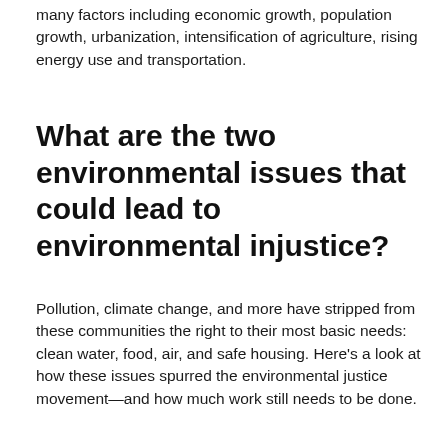many factors including economic growth, population growth, urbanization, intensification of agriculture, rising energy use and transportation.
What are the two environmental issues that could lead to environmental injustice?
Pollution, climate change, and more have stripped from these communities the right to their most basic needs: clean water, food, air, and safe housing. Here's a look at how these issues spurred the environmental justice movement—and how much work still needs to be done.